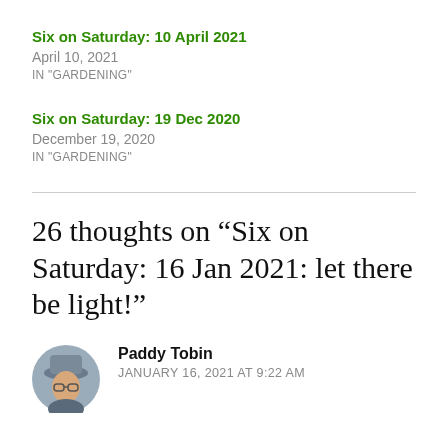Six on Saturday: 10 April 2021
April 10, 2021
IN "GARDENING"
Six on Saturday: 19 Dec 2020
December 19, 2020
IN "GARDENING"
26 thoughts on “Six on Saturday: 16 Jan 2021: let there be light!”
[Figure (photo): Avatar photo of Paddy Tobin, a man wearing a grey hat]
Paddy Tobin
JANUARY 16, 2021 AT 9:22 AM